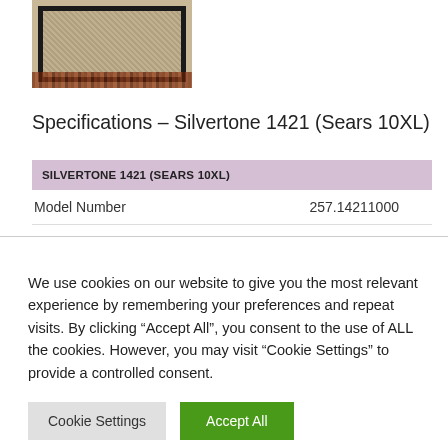[Figure (photo): Photo of a Silvertone 1421 guitar amplifier cabinet with dark frame and tan/beige grille cloth, sitting on a floral rug.]
Specifications – Silvertone 1421 (Sears 10XL)
| SILVERTONE 1421 (SEARS 10XL) |  |
| --- | --- |
| Model Number | 257.14211000 |
We use cookies on our website to give you the most relevant experience by remembering your preferences and repeat visits. By clicking “Accept All”, you consent to the use of ALL the cookies. However, you may visit “Cookie Settings” to provide a controlled consent.